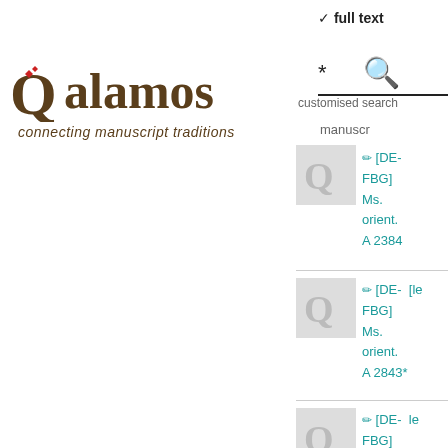[Figure (logo): Qalamos logo with stylized Q and text 'connecting manuscript traditions']
✓ full text
* [search icon]
customised search
manuscr[ipt]
[DE-FBG] Ms. orient. A 2384
[DE-FBG] Ms. orient. A 2843*
[DE-FBG] Ms.